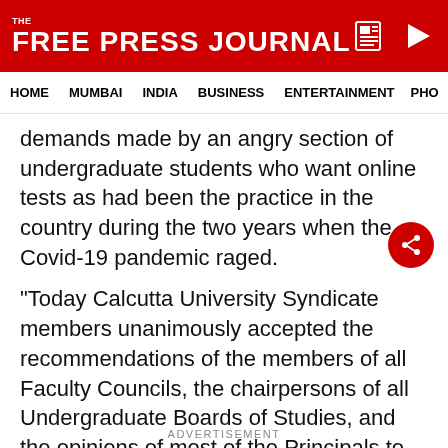THE FREE PRESS JOURNAL
HOME  MUMBAI  INDIA  BUSINESS  ENTERTAINMENT  PHO
demands made by an angry section of undergraduate students who want online tests as had been the practice in the country during the two years when the Covid-19 pandemic raged.
"Today Calcutta University Syndicate members unanimously accepted the recommendations of the members of all Faculty Councils, the chairpersons of all Undergraduate Boards of Studies, and the opinions of most of the Principals to conduct the upcoming even semester examinations in offline mode," she
ADVERTISEMENT